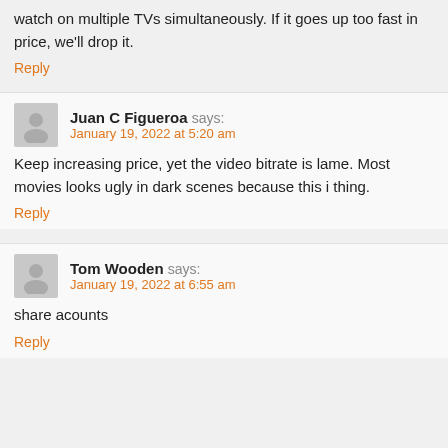We're planning on changing to the lowest tier as we don't often watch on multiple TVs simultaneously. If it goes up too fast in price, we'll drop it.
Reply
Juan C Figueroa says:
January 19, 2022 at 5:20 am
Keep increasing price, yet the video bitrate is lame. Most movies looks ugly in dark scenes because this i thing.
Reply
Tom Wooden says:
January 19, 2022 at 6:55 am
share acounts
Reply